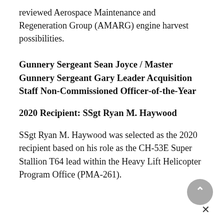reviewed Aerospace Maintenance and Regeneration Group (AMARG) engine harvest possibilities.
Gunnery Sergeant Sean Joyce / Master Gunnery Sergeant Gary Leader Acquisition Staff Non-Commissioned Officer-of-the-Year
2020 Recipient: SSgt Ryan M. Haywood
SSgt Ryan M. Haywood was selected as the 2020 recipient based on his role as the CH-53E Super Stallion T64 lead within the Heavy Lift Helicopter Program Office (PMA-261).